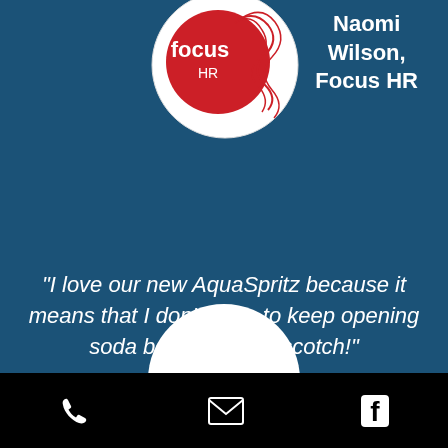[Figure (logo): Focus HR logo: red circle with white 'focus HR' text and red scribble lines on white background]
Naomi Wilson, Focus HR
“I love our new AquaSpritz because it means that I don’t have to keep opening soda bottles for my scotch!”
[Figure (other): Circular up-arrow navigation button]
Phone | Email | Facebook icons